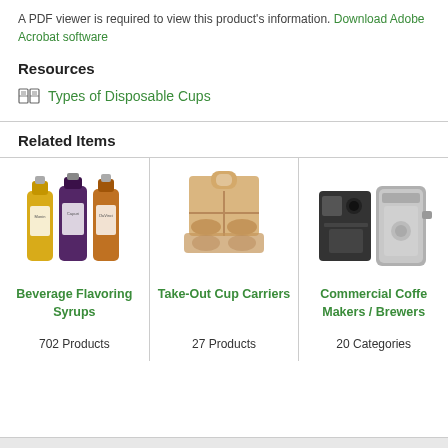A PDF viewer is required to view this product's information. Download Adobe Acrobat software
Resources
Types of Disposable Cups
Related Items
[Figure (photo): Three bottles of beverage flavoring syrups]
Beverage Flavoring Syrups
702 Products
[Figure (photo): Cardboard take-out cup carrier with cups]
Take-Out Cup Carriers
27 Products
[Figure (photo): Commercial coffee makers and brewers]
Commercial Coffee Makers / Brewers
20 Categories